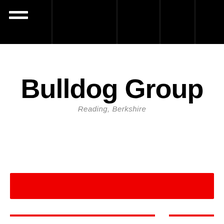Bulldog Group navigation header bar
Bulldog Group
Reading, Berkshire
[Figure (other): Red horizontal banner bar]
[Figure (other): Two red horizontal footer lines at the bottom of the page]